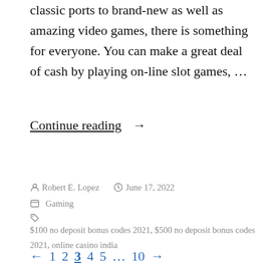classic ports to brand-new as well as amazing video games, there is something for everyone. You can make a great deal of cash by playing on-line slot games, …
Continue reading →
By Robert E. Lopez · June 17, 2022 · Gaming · $100 no deposit bonus codes 2021, $500 no deposit bonus codes 2021, online casino india
← 1 2 3 4 5 … 10 →